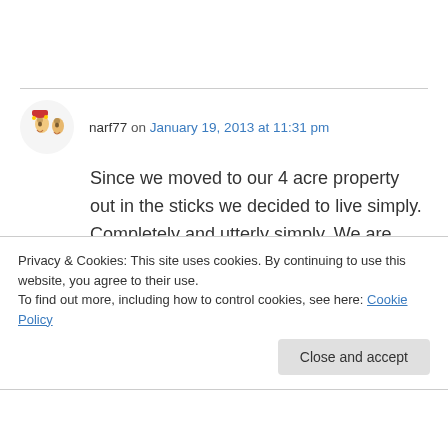narf77 on January 19, 2013 at 11:31 pm
Since we moved to our 4 acre property out in the sticks we decided to live simply. Completely and utterly simply. We are growing our own food, we are integrating permaculture principals in every aspect of our lives and we are learning everything that we can about doing things for ourselves, recycling, repurposing and re-using
Privacy & Cookies: This site uses cookies. By continuing to use this website, you agree to their use.
To find out more, including how to control cookies, see here: Cookie Policy